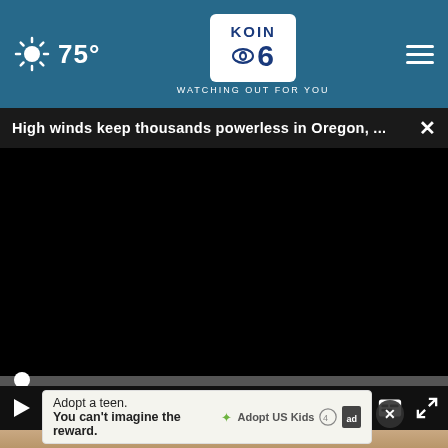75° KOIN 6 CBS WATCHING OUT FOR YOU
High winds keep thousands powerless in Oregon, ...
[Figure (screenshot): Black video player area with progress bar and controls showing 00:00 timestamp]
[Figure (photo): Close-up photo of a blonde person's face partially visible at bottom]
Adopt a teen. You can't imagine the reward. Adopt US Kids [ad]